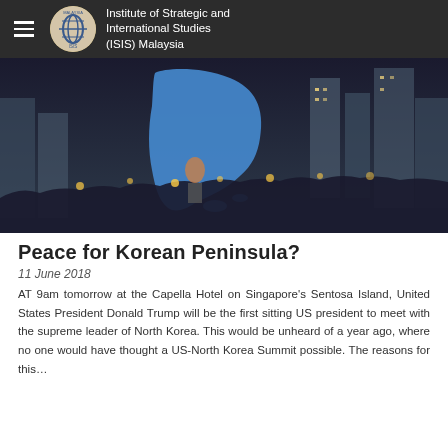Institute of Strategic and International Studies (ISIS) Malaysia
[Figure (photo): Crowd of people holding candles in front of a large blue map silhouette of the Korean Peninsula at a nighttime rally or vigil, with city buildings in the background.]
Peace for Korean Peninsula?
11 June 2018
AT 9am tomorrow at the Capella Hotel on Singapore's Sentosa Island, United States President Donald Trump will be the first sitting US president to meet with the supreme leader of North Korea. This would be unheard of a year ago, where no one would have thought a US-North Korea Summit possible. The reasons for this…